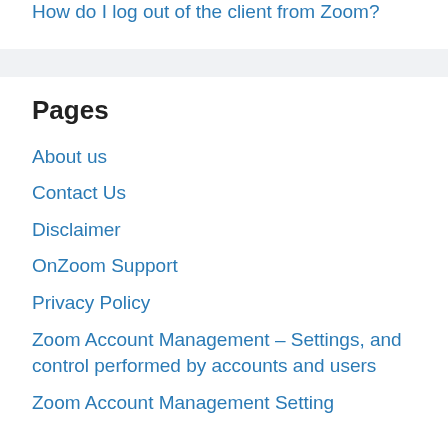How do I log out of the client from Zoom?
Pages
About us
Contact Us
Disclaimer
OnZoom Support
Privacy Policy
Zoom Account Management – Settings, and control performed by accounts and users
Zoom Account Management Setting